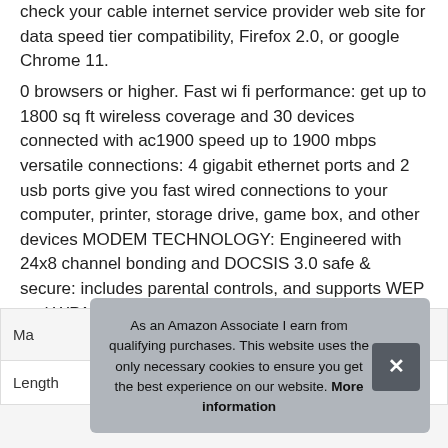check your cable internet service provider web site for data speed tier compatibility, Firefox 2.0, or google Chrome 11.
0 browsers or higher. Fast wi fi performance: get up to 1800 sq ft wireless coverage and 30 devices connected with ac1900 speed up to 1900 mbps versatile connections: 4 gigabit ethernet ports and 2 usb ports give you fast wired connections to your computer, printer, storage drive, game box, and other devices MODEM TECHNOLOGY: Engineered with 24x8 channel bonding and DOCSIS 3.0 safe & secure: includes parental controls, and supports WEP and WPA/WPA2 wireless security protocols.
As an Amazon Associate I earn from qualifying purchases. This website uses the only necessary cookies to ensure you get the best experience on our website. More information
| Ma |  |
| Length | 11.65 Inches |